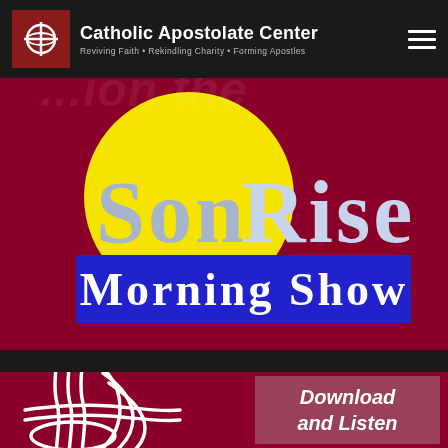[Figure (logo): Catholic Apostolate Center navigation bar with logo icon (cross in red square), organization name, tagline 'Reviving Faith • Rekindling Charity • Forming Apostles', and hamburger menu icon]
[Figure (logo): Son Rise Morning Show logo with large yellow circle, 'Son Rise' text in silver/blue serif font, and 'Morning Show' text in white on blue background bar]
[Figure (illustration): Catholic Apostolate Center white line-art symbol on dark maroon background, with 'Download and Listen' text in italic bold white on mauve/rose semi-transparent box]